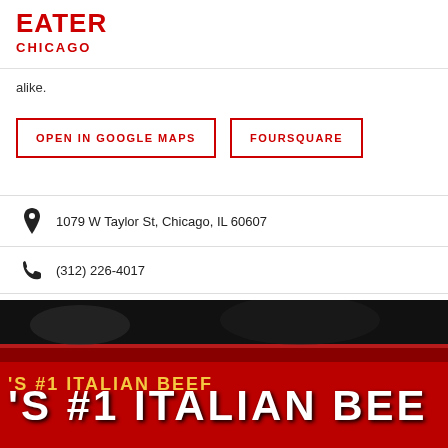EATER CHICAGO
[Figure (map): MAP VIEW thumbnail showing a street map in top-right corner with label MAP VIEW]
alike.
OPEN IN GOOGLE MAPS | FOURSQUARE
1079 W Taylor St, Chicago, IL 60607
(312) 226-4017
Visit Website
[Figure (photo): Photo of a red sign reading '#1 ITALIAN BEE...' (partially cropped) against a dark background]